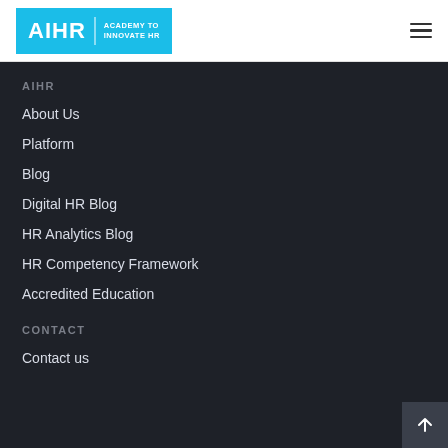[Figure (logo): AIHR Academy to Innovate HR logo on cyan background]
AIHR
About Us
Platform
Blog
Digital HR Blog
HR Analytics Blog
HR Competency Framework
Accredited Education
CONTACT
Contact us